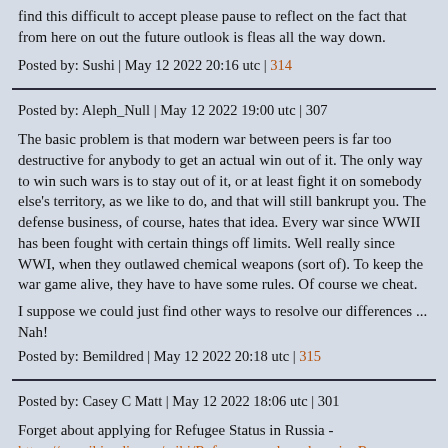find this difficult to accept please pause to reflect on the fact that from here on out the future outlook is fleas all the way down.
Posted by: Sushi | May 12 2022 20:16 utc | 314
Posted by: Aleph_Null | May 12 2022 19:00 utc | 307
The basic problem is that modern war between peers is far too destructive for anybody to get an actual win out of it. The only way to win such wars is to stay out of it, or at least fight it on somebody else's territory, as we like to do, and that will still bankrupt you. The defense business, of course, hates that idea. Every war since WWII has been fought with certain things off limits. Well really since WWI, when they outlawed chemical weapons (sort of). To keep the war game alive, they have to have some rules. Of course we cheat.
I suppose we could just find other ways to resolve our differences ... Nah!
Posted by: Bemildred | May 12 2022 20:18 utc | 315
Posted by: Casey C Matt | May 12 2022 18:06 utc | 301
Forget about applying for Refugee Status in Russia - https://en.wikipedia.org/wiki/Refugees_and_asylum_in_Rus...